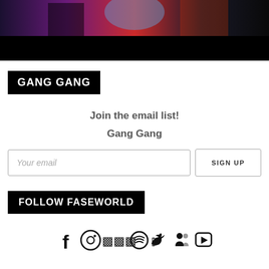[Figure (photo): Photo of performers on stage with colorful purple/red/blue stage lighting, partially cut off, with black bar below]
GANG GANG
Join the email list!
Gang Gang
Your email
SIGN UP
FOLLOW FASEWORLD
[Figure (illustration): Row of social media icons: Facebook, Instagram, SoundCloud, Spotify, Twitter, Podcasts, YouTube]